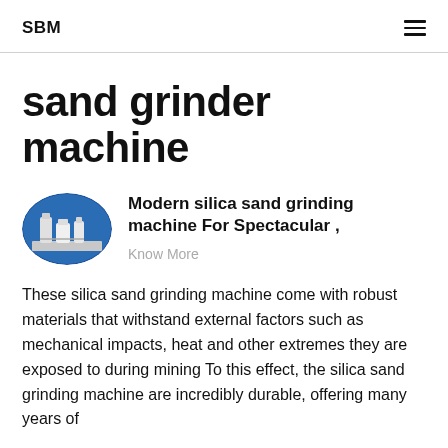SBM
sand grinder machine
[Figure (photo): Oval thumbnail image of industrial silica sand grinding machine equipment against blue sky]
Modern silica sand grinding machine For Spectacular ,
Know More
These silica sand grinding machine come with robust materials that withstand external factors such as mechanical impacts, heat and other extremes they are exposed to during mining To this effect, the silica sand grinding machine are incredibly durable, offering many years of